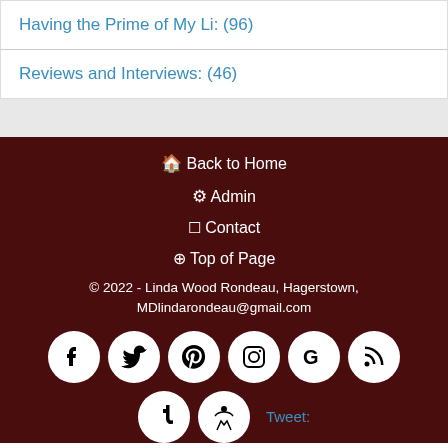Having the Prime of My Li: (96)
Reviews and Interviews: (46)
Back to Home
Admin
Contact
Top of Page
© 2022 - Linda Wood Rondeau, Hagerstown, MDlindarondeau@gmail.com
Tweet: